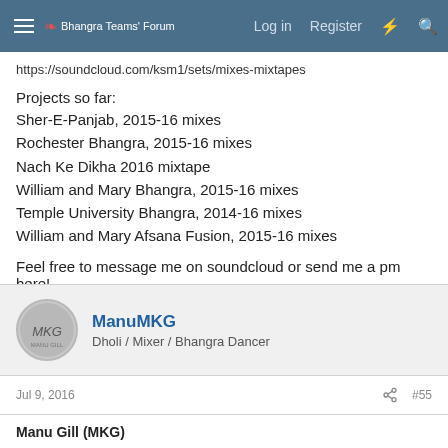Bhangra Teams' Forum | Log in | Register
https://soundcloud.com/ksm1/sets/mixes-mixtapes
Projects so far:
Sher-E-Panjab, 2015-16 mixes
Rochester Bhangra, 2015-16 mixes
Nach Ke Dikha 2016 mixtape
William and Mary Bhangra, 2015-16 mixes
Temple University Bhangra, 2014-16 mixes
William and Mary Afsana Fusion, 2015-16 mixes
Feel free to message me on soundcloud or send me a pm here!
ManuMKG
Dholi / Mixer / Bhangra Dancer
Jul 9, 2016  #55
Manu Gill (MKG)